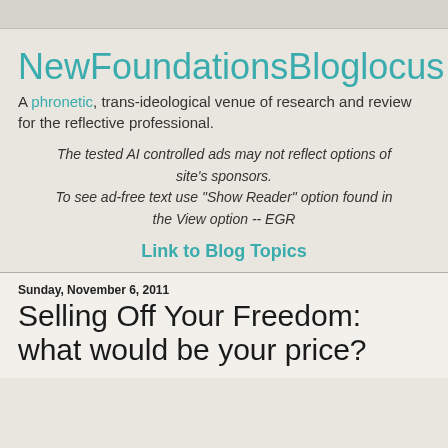NewFoundationsBloglocus
A phronetic, trans-ideological venue of research and review for the reflective professional.
The tested AI controlled ads may not reflect options of site's sponsors.
To see ad-free text use "Show Reader" option found in the View option -- EGR
Link to Blog Topics
Sunday, November 6, 2011
Selling Off Your Freedom: what would be your price?